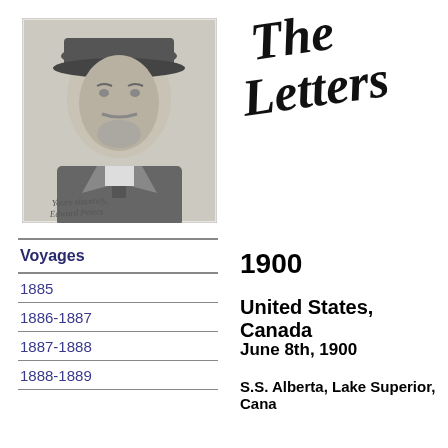[Figure (photo): Black and white portrait photograph of an older gentleman wearing a bowler hat and suit, with a handwritten signature below reading 'Yours sincerely, Edward Peters' or similar cursive inscription.]
The Letters
| Voyages |
| --- |
| 1885 |
| 1886-1887 |
| 1887-1888 |
| 1888-1889 |
1900
United States, Canada
June 8th, 1900
S.S. Alberta, Lake Superior, Cana